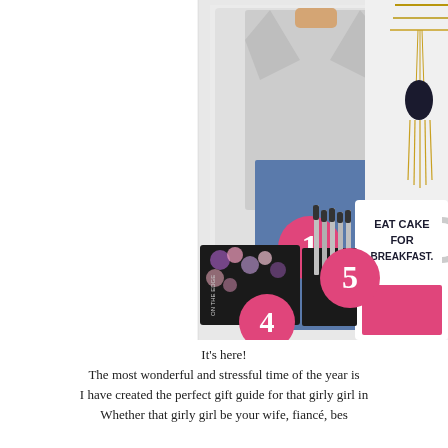[Figure (photo): A collage of gift items: (1) a woman wearing a grey blazer and jeans, (2) a layered gold necklace with black stone pendant, (3) a white and pink mug reading 'EAT CAKE FOR BREAKFAST.', (4) a makeup brush set in decorative black floral box, (5) numbered pink circle badges overlaid on the items.]
It's here! The most wonderful and stressful time of the year is I have created the perfect gift guide for that girly girl in Whether that girly girl be your wife, fiancé, bes